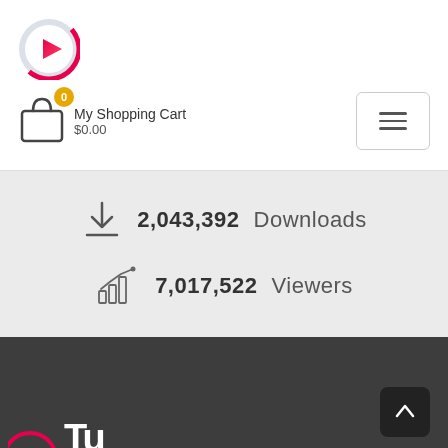[Figure (logo): Circular play button logo with red/pink gradient ring and white center containing a red play triangle]
My Shopping Cart
$0.00
[Figure (infographic): Download icon with stat: 2,043,392 Downloads. Chart/viewers icon with stat: 7,017,522 Viewers]
[Figure (screenshot): Dark grey footer section with scroll-to-top button and partial footer logo]